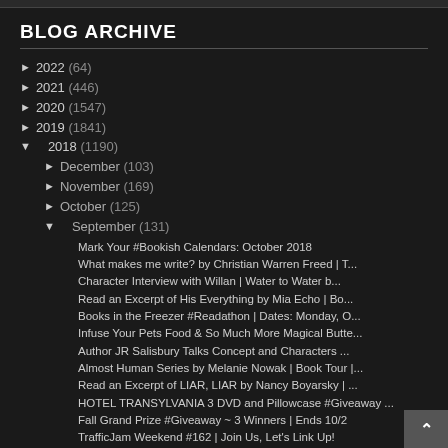BLOG ARCHIVE
► 2022 (64)
► 2021 (446)
► 2020 (1547)
► 2019 (1841)
▼ 2018 (1190)
► December (103)
► November (169)
► October (125)
▼ September (131)
Mark Your #Bookish Calendars: October 2018
What makes me write? by Christian Warren Freed | T...
Character Interview with Willan | Water to Water b...
Read an Excerpt of His Everything by Mia Echo | Bo...
Books in the Freezer #Readathon | Dates: Monday, O...
Infuse Your Pets Food & So Much More Magical Butte...
Author JR Salisbury Talks Concept and Characters ...
Almost Human Series by Melanie Nowak | Book Tour |...
Read an Excerpt of LIAR, LIAR by Nancy Boyarsky | ...
HOTEL TRANSYLVANIA 3 DVD and Pillowcase #Giveaway ...
Fall Grand Prize #Giveaway ~ 3 Winners | Ends 10/2
TrafficJam Weekend #162 | Join Us, Let's Link Up!